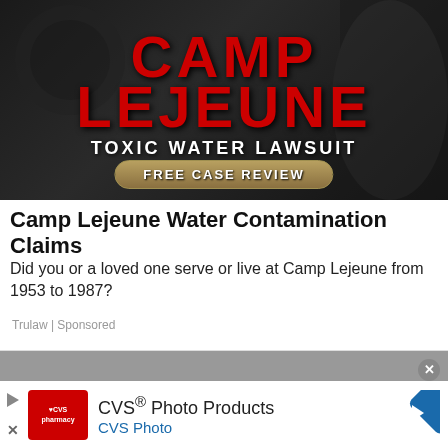[Figure (infographic): Camp Lejeune Toxic Water Lawsuit advertisement with red text on dark military background. Shows 'CAMP LEJEUNE' in large red letters, 'TOXIC WATER LAWSUIT' in white, and a gold 'FREE CASE REVIEW' button.]
Camp Lejeune Water Contamination Claims
Did you or a loved one serve or live at Camp Lejeune from 1953 to 1987?
Trulaw | Sponsored
[Figure (infographic): CVS Photo Products advertisement. Shows CVS pharmacy logo on red background, 'CVS® Photo Products' title text, 'CVS Photo' subtitle in blue, and a blue diamond-shaped navigation arrow icon on the right. Has a close button (x) in top right.]